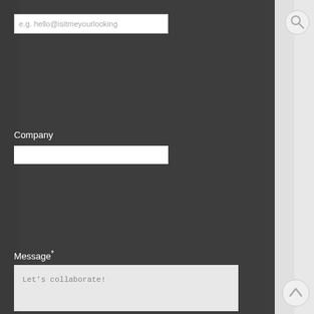[Figure (screenshot): Email input field with placeholder text 'e.g. hello@isitmeyourlooking']
[Figure (other): Search icon (magnifying glass) circle button in top right]
Company
[Figure (screenshot): Company text input field, empty white rectangle]
Message*
[Figure (screenshot): Message textarea with placeholder text 'Let's collaborate!']
[Figure (other): Back to top arrow icon (caret up) circle button in bottom right]